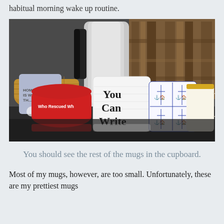habitual morning wake up routine.
[Figure (photo): A collection of coffee mugs on a dark countertop, including a white mug reading 'You Can Write', a red bowl-style mug reading 'Who Rescued Who', a blue mug reading 'Home is Where The...', a Delft-style blue-and-white mug with windmill tiles, a yellow-rimmed mug, and a silver/metal French press in the background.]
You should see the rest of the mugs in the cupboard.
Most of my mugs, however, are too small. Unfortunately, these are my prettiest mugs